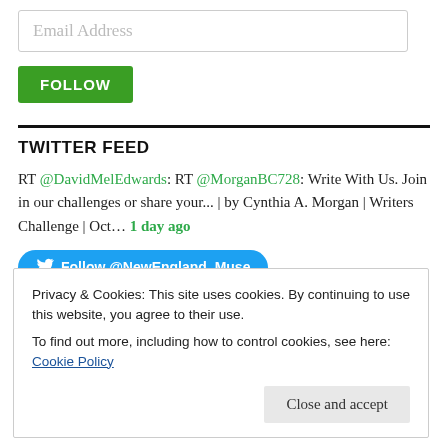Email Address
FOLLOW
TWITTER FEED
RT @DavidMelEdwards: RT @MorganBC728: Write With Us. Join in our challenges or share your... | by Cynthia A. Morgan | Writers Challenge | Oct... 1 day ago
Follow @NewEngland_Muse
Privacy & Cookies: This site uses cookies. By continuing to use this website, you agree to their use.
To find out more, including how to control cookies, see here: Cookie Policy
Close and accept